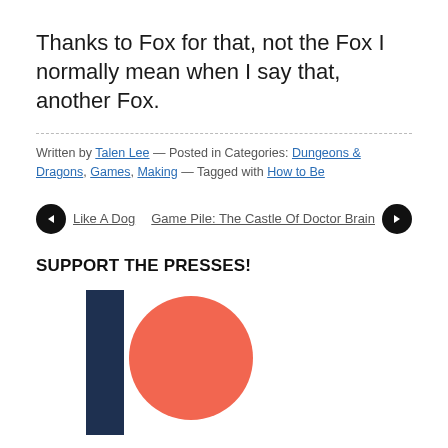Thanks to Fox for that, not the Fox I normally mean when I say that, another Fox.
Written by Talen Lee — Posted in Categories: Dungeons & Dragons, Games, Making — Tagged with How to Be
◄ Like A Dog    Game Pile: The Castle Of Doctor Brain ►
SUPPORT THE PRESSES!
[Figure (logo): Patreon logo: a dark navy vertical rectangle bar on the left and a coral/salmon circle on the right]